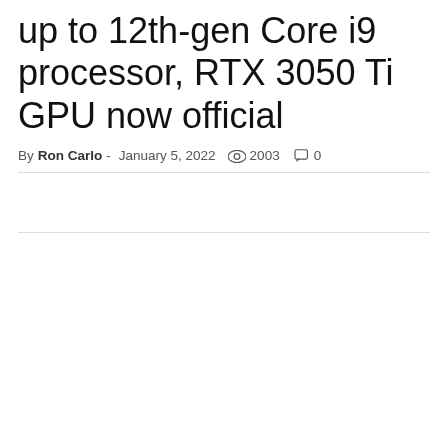up to 12th-gen Core i9 processor, RTX 3050 Ti GPU now official
By Ron Carlo - January 5, 2022  👁 2003  💬 0